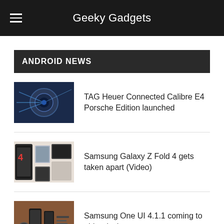Geeky Gadgets
ANDROID NEWS
[Figure (photo): TAG Heuer Connected Calibre E4 Porsche Edition smartwatch with blue light background]
TAG Heuer Connected Calibre E4 Porsche Edition launched
[Figure (photo): Samsung Galaxy Z Fold 4 teardown with components laid out]
Samsung Galaxy Z Fold 4 gets taken apart (Video)
[Figure (photo): Samsung devices on a wooden table with accessories]
Samsung One UI 4.1.1 coming to older devices
Samsung